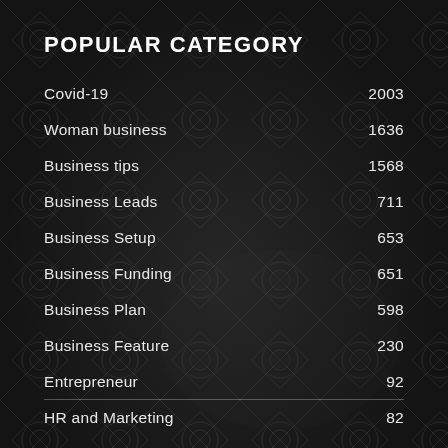POPULAR CATEGORY
Covid-19   2003
Woman business   1636
Business tips   1568
Business Leads   711
Business Setup   653
Business Funding   651
Business Plan   598
Business Feature   230
Entrepreneur   92
HR and Marketing   82